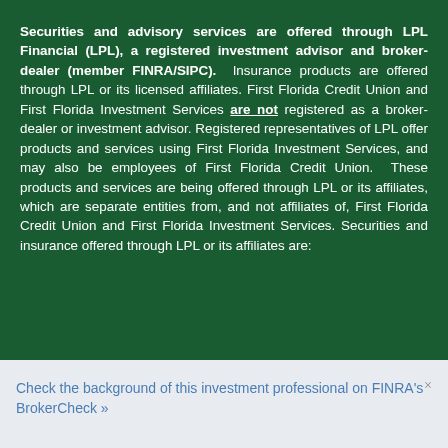Securities and advisory services are offered through LPL Financial (LPL), a registered investment advisor and broker-dealer (member FINRA/SIPC). Insurance products are offered through LPL or its licensed affiliates. First Florida Credit Union and First Florida Investment Services are not registered as a broker-dealer or investment advisor. Registered representatives of LPL offer products and services using First Florida Investment Services, and may also be employees of First Florida Credit Union. These products and services are being offered through LPL or its affiliates, which are separate entities from, and not affiliates of, First Florida Credit Union and First Florida Investment Services. Securities and insurance offered through LPL or its affiliates are:
Check the background of this investment professional on FINRA's BrokerCheck »